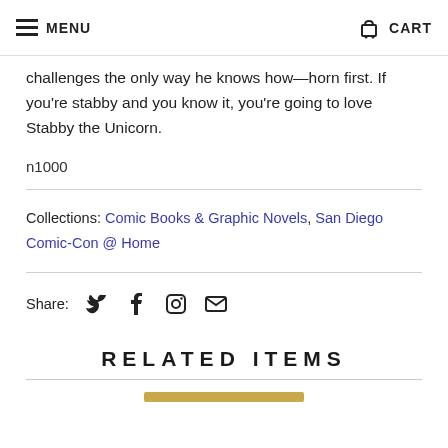MENU | CART
challenges the only way he knows how—horn first. If you're stabby and you know it, you're going to love Stabby the Unicorn.
n1000
Collections: Comic Books & Graphic Novels, San Diego Comic-Con @ Home
Share:
RELATED ITEMS